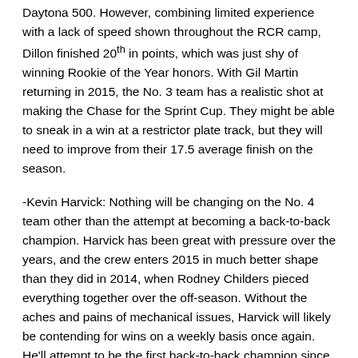Daytona 500. However, combining limited experience with a lack of speed shown throughout the RCR camp, Dillon finished 20th in points, which was just shy of winning Rookie of the Year honors. With Gil Martin returning in 2015, the No. 3 team has a realistic shot at making the Chase for the Sprint Cup. They might be able to sneak in a win at a restrictor plate track, but they will need to improve from their 17.5 average finish on the season.
-Kevin Harvick: Nothing will be changing on the No. 4 team other than the attempt at becoming a back-to-back champion. Harvick has been great with pressure over the years, and the crew enters 2015 in much better shape than they did in 2014, when Rodney Childers pieced everything together over the off-season. Without the aches and pains of mechanical issues, Harvick will likely be contending for wins on a weekly basis once again. He'll attempt to be the first back-to-back champion since Jimmie Johnson won five straight titles from 2006 to 2010.